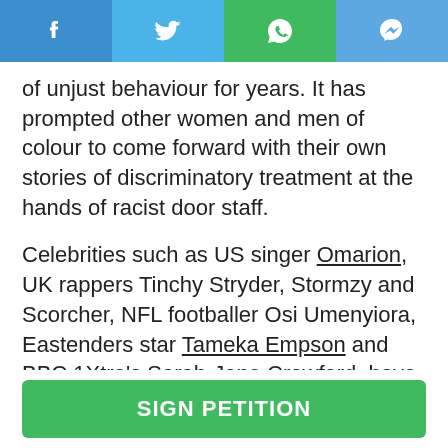[Figure (screenshot): Social sharing bar with Facebook, Twitter, WhatsApp, and Messenger icons on colored backgrounds]
of unjust behaviour for years. It has prompted other women and men of colour to come forward with their own stories of discriminatory treatment at the hands of racist door staff.
Celebrities such as US singer Omarion, UK rappers Tinchy Stryder, Stormzy and Scorcher, NFL footballer Osi Umenyiora, Eastenders star Tameka Empson and BBC 1Xtra's Sarah-Jane Crawford, have all spoken out against the club on their social media platforms.
This petition is to ask the Westminster City Council to highlight and put a STOP to the following issues:
SIGN PETITION